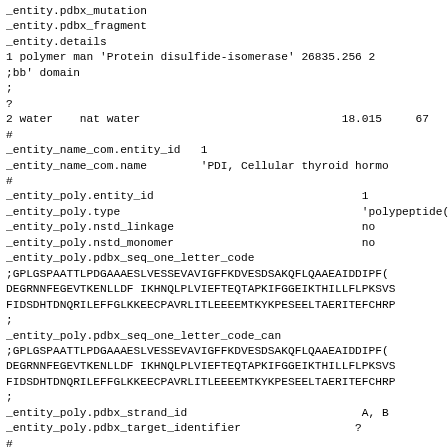_entity.pdbx_mutation
_entity.pdbx_fragment
_entity.details
1 polymer man 'Protein disulfide-isomerase' 26835.256 2
;bb' domain
;
?
2 water    nat water                              18.015     67
#
_entity_name_com.entity_id   1
_entity_name_com.name        'PDI, Cellular thyroid hormo
#
_entity_poly.entity_id                               1
_entity_poly.type                                    'polypeptide
_entity_poly.nstd_linkage                            no
_entity_poly.nstd_monomer                            no
_entity_poly.pdbx_seq_one_letter_code
;GPLGSPAATTLPDGAAAESLVESSEVAVIGFFKDVESDSAKQFLQAAEAIDDIPF0
DEGRNNFEGEVTKENLLDFIKHNQLPLVIEFTEQTAPKIFGGEIKTHILLFLPKSVS
FIDSDHTDNQRILEFFGLKKEECPAVRLITLEEEMTKYKPESEELTAERITEFCHRF
;
_entity_poly.pdbx_seq_one_letter_code_can
;GPLGSPAATTLPDGAAAESLVESSEVAVIGFFKDVESDSAKQFLQAAEAIDDIPF0
DEGRNNFEGEVTKENLLDFIKHNQLPLVIEFTEQTAPKIFGGEIKTHILLFLPKSVS
FIDSDHTDNQRILEFFGLKKEECPAVRLITLEEEMTKYKPESEELTAERITEFCHRF
;
_entity_poly.pdbx_strand_id                          A, B
_entity_poly.pdbx_target_identifier                 ?
#
loop_